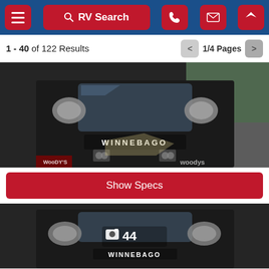RV Search navigation bar
1 - 40 of 122 Results   1/4 Pages
[Figure (photo): Front view of a dark Winnebago motorhome/RV, photographed from the front showing the windshield, large chrome mirrors, and Winnebago badge. Woody's dealership watermark visible at bottom right.]
Show Specs
[Figure (photo): Second Winnebago RV listing photo thumbnail, dark colored motorhome, showing 44 photos available indicated by camera icon and number 44.]
Price $299,980
Vi
Text Us
Live Chat